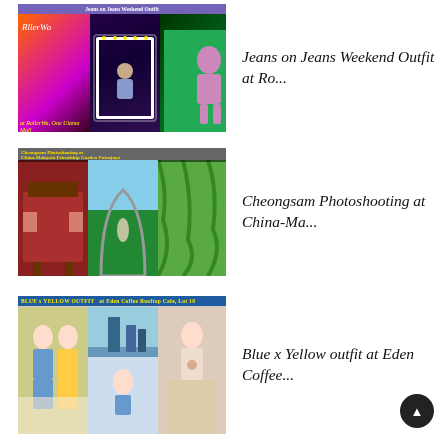[Figure (photo): Collage of three photos: left shows colorful neon environment with RollerWa text, center shows girls posing in a mirror frame with light bulbs, right shows outdoor night green-lit scene. Banner text: 'Jeans on Jeans Weekend Outfit' and 'at RollerWa, One Utama Mall']
Jeans on Jeans Weekend Outfit at Ro...
[Figure (photo): Collage of three photos showing Cheongsam photoshoot at China-Malaysia Friendship Garden Putrajaya: left shows traditional red pavilion, center shows stone arch pathway, right shows weeping willow garden scene.]
Cheongsam Photoshooting at China-Ma...
[Figure (photo): Collage of three photos: left shows two girls in blue and yellow outfits, center shows city skyline from rooftop cafe, right shows girl sitting at cafe table. Banner text: 'BLUE x YELLOW OUTFIT' and 'at Eden Coffee Rooftop Cafe, Lot 10']
Blue x Yellow outfit at Eden Coffee...